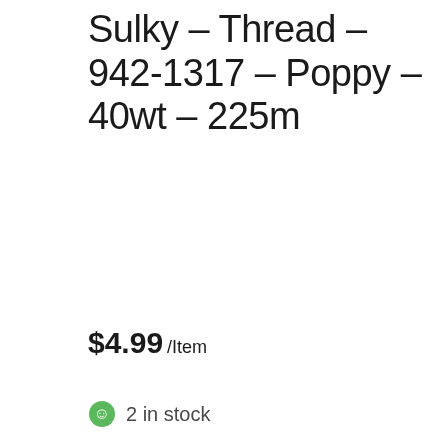Sulky – Thread – 942-1317 – Poppy – 40wt – 225m
$4.99 /Item
2 in stock
1  Add to cart
Search products...
[Figure (infographic): Bottom navigation bar with user/account icon, search icon, and shopping cart icon with badge showing 0]